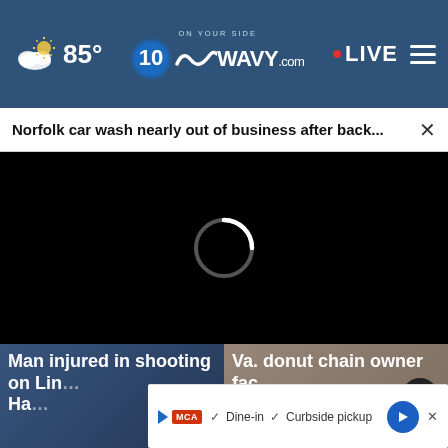85° WAVY.com ON YOUR SIDE LIVE
Norfolk car wash nearly out of business after back... ×
[Figure (screenshot): Black video player with loading spinner (white arc) in center]
Man injured in shooting on Lincoln Hampton
Va. donut chain owner faces lawsuit
[Figure (infographic): Ad bar showing MCA logo, Dine-in checkmark, Curbside pickup checkmark, navigation arrow icon]